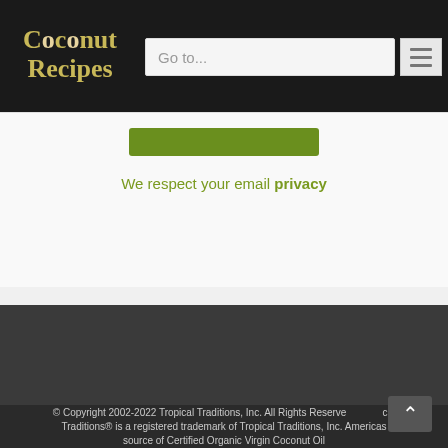Coconut Recipes – Go to...
[Figure (screenshot): Green subscribe button bar]
We respect your email privacy
[Figure (screenshot): Dark grey footer area (advertisement/content block)]
© Copyright 2002-2022 Tropical Traditions, Inc. All Rights Reserved. Tropical Traditions® is a registered trademark of Tropical Traditions, Inc. Americas source of Certified Organic Virgin Coconut Oil